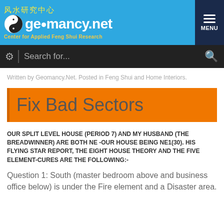[Figure (logo): Geomancy.net logo with yin-yang symbol, Chinese characters, and blue background header with MENU button]
Search for...
Written by Geomancy.Net. Posted in Feng Shui and Home Interiors.
Fix Bad Sectors
OUR SPLIT LEVEL HOUSE (PERIOD 7) AND MY HUSBAND (THE BREADWINNER) ARE BOTH NE -OUR HOUSE BEING NE1(30). HIS FLYING STAR REPORT, THE EIGHT HOUSE THEORY AND THE FIVE ELEMENT-CURES ARE THE FOLLOWING:-
Question 1: South (master bedroom above and business office below) is under the Fire element and a Disaster area.